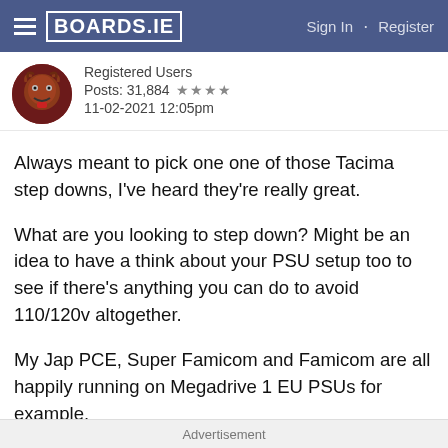BOARDS.IE  Sign In · Register
Registered Users
Posts: 31,884 ★★★★
11-02-2021 12:05pm
Always meant to pick one one of those Tacima step downs, I've heard they're really great.
What are you looking to step down? Might be an idea to have a think about your PSU setup too to see if there's anything you can do to avoid 110/120v altogether.
My Jap PCE, Super Famicom and Famicom are all happily running on Megadrive 1 EU PSUs for example.
Jap Saturn has a Pico PSU so that's running straight off an Irish mains too.
Advertisement